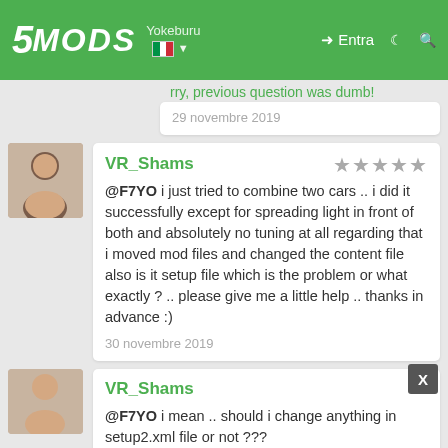5MODS | Yokeburu | Italy flag | Entra
sorry, previous question was dumb!
29 novembre 2019
VR_Shams
@F7YO i just tried to combine two cars .. i did it successfully except for spreading light in front of both and absolutely no tuning at all regarding that i moved mod files and changed the content file also is it setup file which is the problem or what exactly ? .. please give me a little help .. thanks in advance :)
30 novembre 2019
VR_Shams
@F7YO i mean .. should i change anything in setup2.xml file or not ???
30 novembre 2019
F7YO Autore
@VR_Shams